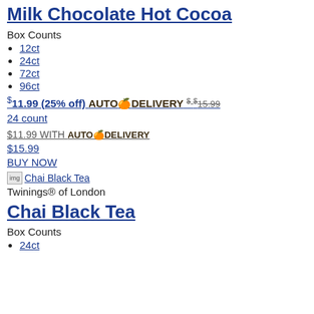Milk Chocolate Hot Cocoa
Box Counts
12ct
24ct
72ct
96ct
$11.99 (25% off) AUTO🍊DELIVERY $ $15.99 24 count
$11.99 WITH AUTO🍊DELIVERY
$15.99
BUY NOW
[Figure (other): Chai Black Tea product image placeholder]
Twinings® of London
Chai Black Tea
Box Counts
24ct